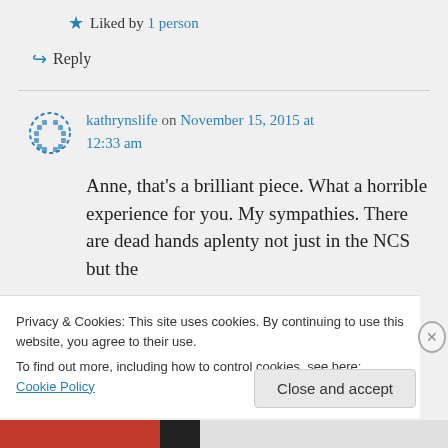★ Liked by 1 person
↪ Reply
kathrynslife on November 15, 2015 at 12:33 am
Anne, that's a brilliant piece. What a horrible experience for you. My sympathies. There are dead hands aplenty not just in the NCS but the
Privacy & Cookies: This site uses cookies. By continuing to use this website, you agree to their use.
To find out more, including how to control cookies, see here: Cookie Policy
Close and accept